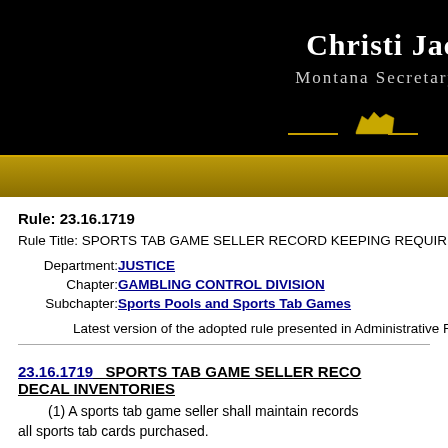Christi Jac Montana Secretary
Rule: 23.16.1719
Rule Title: SPORTS TAB GAME SELLER RECORD KEEPING REQUIREMENT
Department: JUSTICE
Chapter: GAMBLING CONTROL DIVISION
Subchapter: Sports Pools and Sports Tab Games
Latest version of the adopted rule presented in Administrative Rules of M
23.16.1719  SPORTS TAB GAME SELLER RECO DECAL INVENTORIES
(1) A sports tab game seller shall maintain records all sports tab cards purchased.
(2) A sports tab game seller shall maintain records tab cards sold, the sponsor, and the sports tab tax dec tab game card by serial number. The sports tab game make the records available to the department upon rec from the previous quarterly tax return due date. Such